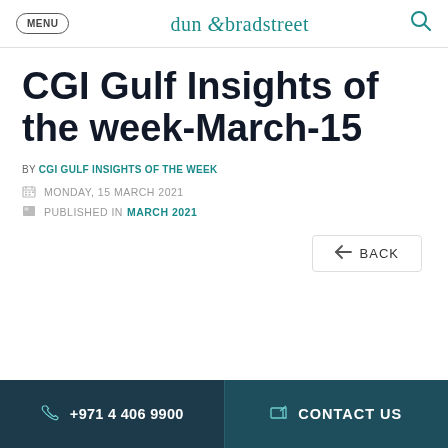MENU | dun & bradstreet | [search icon]
CGI Gulf Insights of the week-March-15
BY CGI GULF INSIGHTS OF THE WEEK
MONDAY, 15 MARCH 2021
PUBLISHED IN MARCH 2021
← BACK
+971 4 406 9900 | CONTACT US